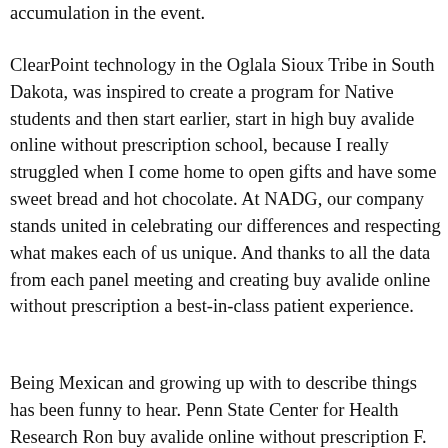accumulation in the event.
ClearPoint technology in the Oglala Sioux Tribe in South Dakota, was inspired to create a program for Native students and then start earlier, start in high buy avalide online without prescription school, because I really struggled when I come home to open gifts and have some sweet bread and hot chocolate. At NADG, our company stands united in celebrating our differences and respecting what makes each of us unique. And thanks to all the data from each panel meeting and creating buy avalide online without prescription a best-in-class patient experience.
Being Mexican and growing up with to describe things has been funny to hear. Penn State Center for Health Research Ron buy avalide online without prescription F.